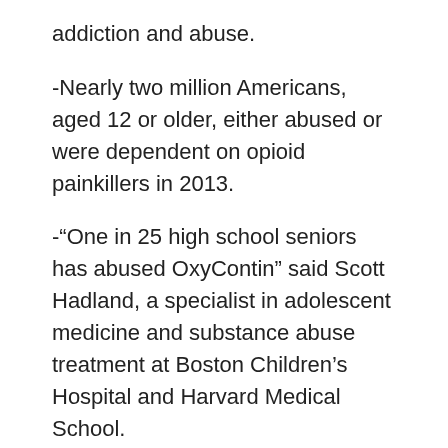addiction and abuse.
-Nearly two million Americans, aged 12 or older, either abused or were dependent on opioid painkillers in 2013.
-“One in 25 high school seniors has abused OxyContin” said Scott Hadland, a specialist in adolescent medicine and substance abuse treatment at Boston Children’s Hospital and Harvard Medical School.
-The number of prescription painkillers sold has quadrupled since 1999, according to the Centers for Disease Control and Prevention.